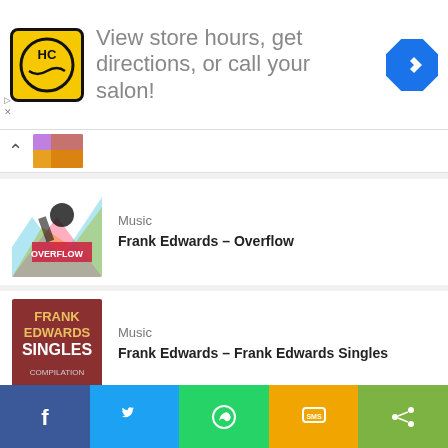[Figure (photo): Advertisement banner: HC salon logo, text 'View store hours, get directions, or call your salon!', blue diamond arrow icon]
[Figure (photo): Small thumbnail image at top of list, partially visible colorful album art]
[Figure (photo): Frank Edwards Overflow album art - colorful with performer]
Music
Frank Edwards – Overflow
[Figure (photo): Frank Edwards Singles Compilation album art - dark red background with text]
Music
Frank Edwards – Frank Edwards Singles
[Figure (photo): Judikay From This Heart Album art - woman with flowers]
Music
Judikay – From This Heart Album
[Figure (infographic): Social share footer bar with Facebook, Twitter, WhatsApp, SMS, and Share buttons]